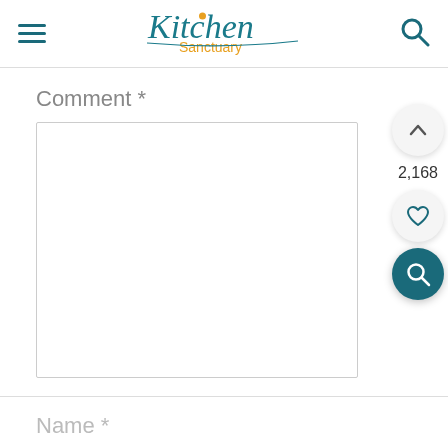Kitchen Sanctuary header with hamburger menu and search icon
Comment *
[Figure (screenshot): Empty comment text area input box with border]
2,168
Name *